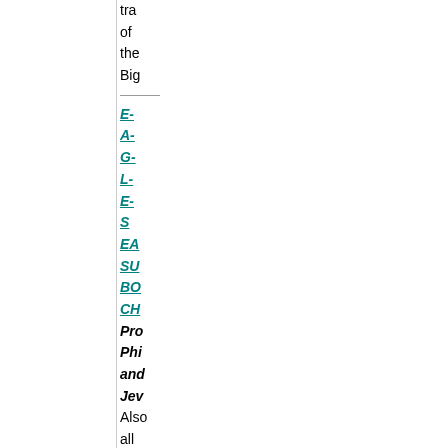tra
of
the
Big
E-
A-
G-
L-
E-
S
EA
SU
BO
CH
Pro
Phi
and
Jev
Also all about the
Flye
Phi
and
Sixe
TTF